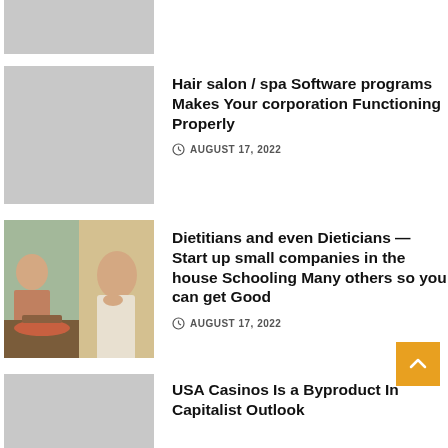[Figure (photo): Gray placeholder thumbnail at top]
[Figure (photo): Gray placeholder thumbnail for hair salon article]
Hair salon / spa Software programs Makes Your corporation Functioning Properly
AUGUST 17, 2022
[Figure (photo): Split photo: woman cooking vegetables on left, woman with hand on chin on right]
Dietitians and even Dieticians — Start up small companies in the house Schooling Many others so you can get Good
AUGUST 17, 2022
[Figure (photo): Gray placeholder thumbnail for USA Casinos article]
USA Casinos Is a Byproduct In Capitalist Outlook